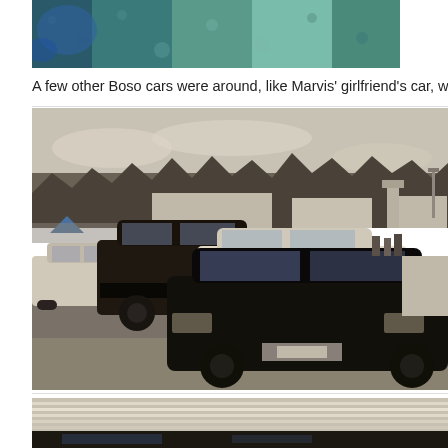[Figure (photo): Partial top photo showing teal/blue-green textured surface, cropped at bottom]
A few other Boso cars were around, like Marvis' girlfriend's car, which wa…
[Figure (photo): Black and white/sepia photo of multiple classic Japanese cars (Bosozoku style) parked on grass at what appears to be a car show or airfield event. A dark Toyota Celica is in the foreground, with a white car and black car behind it. Blue tent visible in background along with buildings and trees.]
[Figure (photo): Bottom partial photo showing horizontal stripes/lines on what appears to be the hood or roof of a car, with a dark reflection area at the bottom]